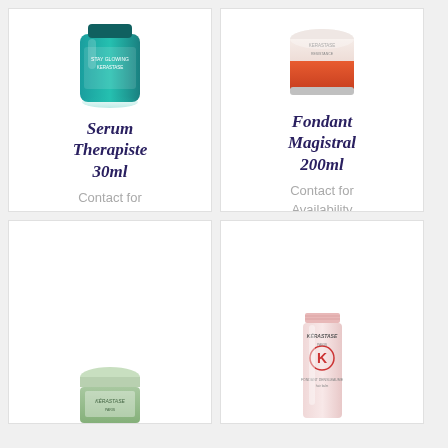[Figure (photo): Teal/green serum bottle product photo - Kerastase Serum Therapiste 30ml]
Serum Therapiste 30ml
Contact for Availability
[Figure (photo): White and orange cream jar product photo - Fondant Magistral 200ml]
Fondant Magistral 200ml
Contact for Availability
[Figure (photo): Green jar Kerastase product photo]
[Figure (photo): Pink tube Kerastase product photo]